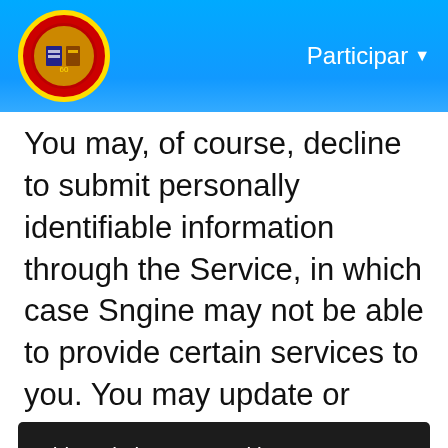Participar
You may, of course, decline to submit personally identifiable information through the Service, in which case Sngine may not be able to provide certain services to you. You may update or correct your account information and email preferences at any
This website uses cookies to ensure you get the best experience on our website
Learn More
Got It!
contained therein. Please remember that